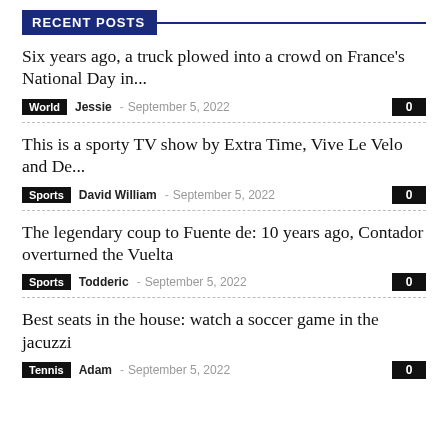RECENT POSTS
Six years ago, a truck plowed into a crowd on France's National Day in...
World  Jessie  -  September 5, 2022  0
This is a sporty TV show by Extra Time, Vive Le Velo and De...
Sports  David William  -  September 5, 2022  0
The legendary coup to Fuente de: 10 years ago, Contador overturned the Vuelta
Sports  Todderic  -  September 5, 2022  0
Best seats in the house: watch a soccer game in the jacuzzi
Tennis  Adam  -  September 5, 2022  0